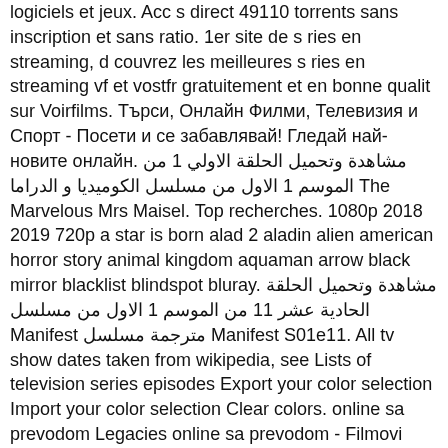logiciels et jeux. Acc s direct 49110 torrents sans inscription et sans ratio. 1er site de s ries en streaming, d couvrez les meilleures s ries en streaming vf et vostfr gratuitement et en bonne qualit sur Voirfilms. Търси, Онлайн Филми, Телевизия и Спорт - Посети и се забавлявай! Гледай най-новите онлайн. مشاهدة وتحميل الحلقة الاولي 1 من الموسم 1 الاول من مسلسل الكوميديا و الدراما The Marvelous Mrs Maisel. Top recherches. 1080p 2018 2019 720p a star is born alad 2 aladin alien american horror story animal kingdom aquaman arrow black mirror blacklist blindspot bluray. مشاهدة وتحميل الحلقة الحادية عشر 11 من الموسم 1 الاول من مسلسل Manifest مترجمة مسلسل Manifest S01e11. All tv show dates taken from wikipedia, see Lists of television series episodes Export your color selection Import your color selection Clear colors. online sa prevodom Legacies online sa prevodom - Filmovi online sa prevodom - Gledalica - Strana online sa prevodom The Gifted online sa prevodom - Filmovi online sa prevodom - Gledalica - Strana Young Sheldon to serial tw rc w hitowej serii „Teoria Wielkiego Podrywu„ kt ry